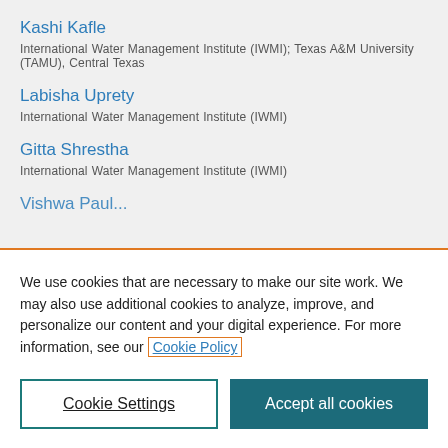Kashi Kafle
International Water Management Institute (IWMI); Texas A&M University (TAMU), Central Texas
Labisha Uprety
International Water Management Institute (IWMI)
Gitta Shrestha
International Water Management Institute (IWMI)
We use cookies that are necessary to make our site work. We may also use additional cookies to analyze, improve, and personalize our content and your digital experience. For more information, see our Cookie Policy
Cookie Settings
Accept all cookies